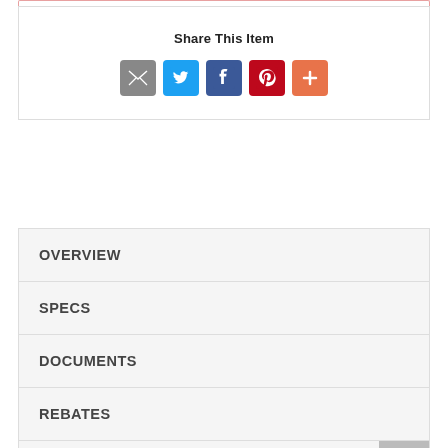Share This Item
[Figure (infographic): Social share icons: Email (grey), Twitter (blue), Facebook (dark blue), Pinterest (red), More/Plus (orange)]
OVERVIEW
SPECS
DOCUMENTS
REBATES
VIDEOS
WARRANTY